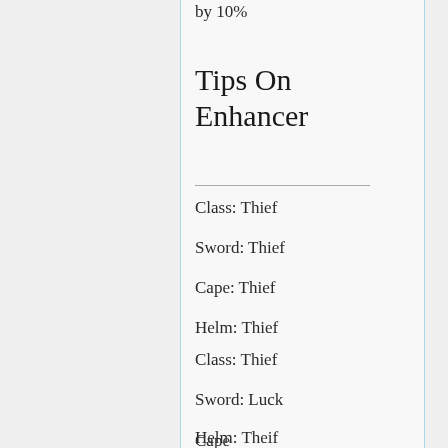by 10%
Tips On Enhancer
Class: Thief
Sword: Thief
Cape: Thief
Helm: Thief
Class: Thief
Sword: Luck
Cape Fighter
Helm: Theif